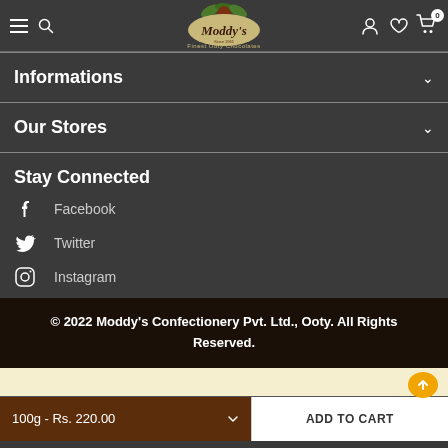Moddy's — Finest Ooty Chocolates (navigation bar with hamburger, search, logo, user, wishlist, cart icons)
Informations
Our Stores
Stay Connected
Facebook
Twitter
Instagram
© 2022 Moddy's Confectionery Pvt. Ltd., Ooty. All Rights Reserved.
100g - Rs. 220.00
ADD TO CART